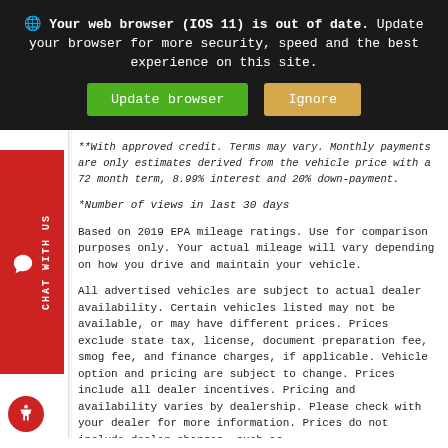[Figure (screenshot): Browser out-of-date warning banner with globe icon, bold text, and two buttons: green 'Update browser' and tan/gold 'Ignore']
**With approved credit. Terms may vary. Monthly payments are only estimates derived from the vehicle price with a 72 month term, 8.99% interest and 20% down-payment.
*Number of views in last 30 days
Based on 2019 EPA mileage ratings. Use for comparison purposes only. Your actual mileage will vary depending on how you drive and maintain your vehicle.
All advertised vehicles are subject to actual dealer availability. Certain vehicles listed may not be available, or may have different prices. Prices exclude state tax, license, document preparation fee, smog fee, and finance charges, if applicable. Vehicle option and pricing are subject to change. Prices include all dealer incentives. Pricing and availability varies by dealership. Please check with your dealer for more information. Prices do not include dealer charges, such as